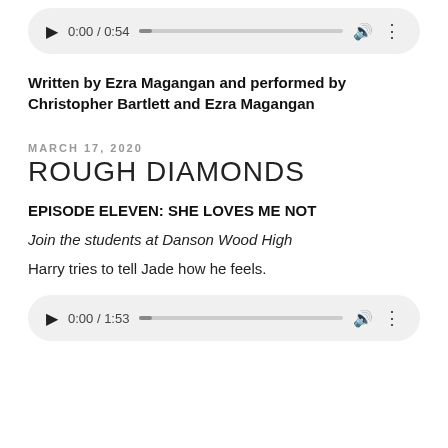[Figure (screenshot): Audio player widget showing 0:00 / 0:54 with play button, progress bar, volume and more icons on a light grey rounded background]
Written by Ezra Magangan and performed by Christopher Bartlett and Ezra Magangan
MARCH 17, 2020
ROUGH DIAMONDS
EPISODE ELEVEN: SHE LOVES ME NOT
Join the students at Danson Wood High
Harry tries to tell Jade how he feels.
[Figure (screenshot): Audio player widget showing 0:00 / 1:53 with play button, progress bar, volume and more icons on a light grey rounded background]